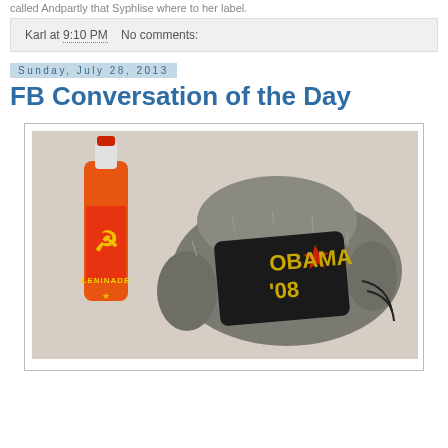called Andpartly that Syphlise where to her label.
Karl at 9:10 PM   No comments:
Sunday, July 28, 2013
FB Conversation of the Day
[Figure (photo): Photo showing an orange bottle of 'Leninade' soda with a hammer and sickle logo, next to a grey fuzzy Russian-style ushanka hat with a black badge reading 'OBAMA 08' and a red star, on a light background.]